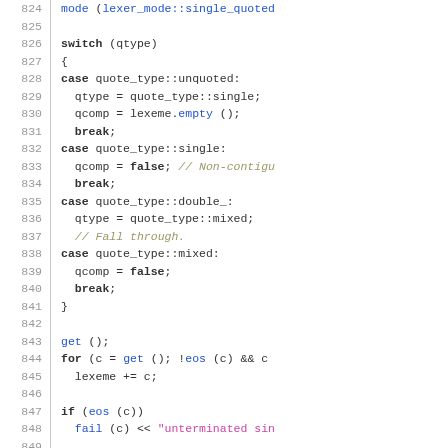[Figure (screenshot): Source code listing lines 824-853, C++ code with syntax highlighting showing a switch statement handling quote types in a lexer, followed by a for loop and if statement for single-quoted string parsing.]